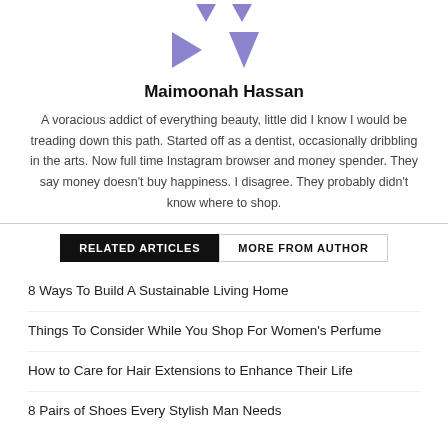[Figure (illustration): Purple geometric shapes - two downward triangles at top, a play button (right-pointing triangle) and an upward triangle below]
Maimoonah Hassan
A voracious addict of everything beauty, little did I know I would be treading down this path. Started off as a dentist, occasionally dribbling in the arts. Now full time Instagram browser and money spender. They say money doesn't buy happiness. I disagree. They probably didn't know where to shop.
RELATED ARTICLES | MORE FROM AUTHOR
8 Ways To Build A Sustainable Living Home
Things To Consider While You Shop For Women's Perfume
How to Care for Hair Extensions to Enhance Their Life
8 Pairs of Shoes Every Stylish Man Needs